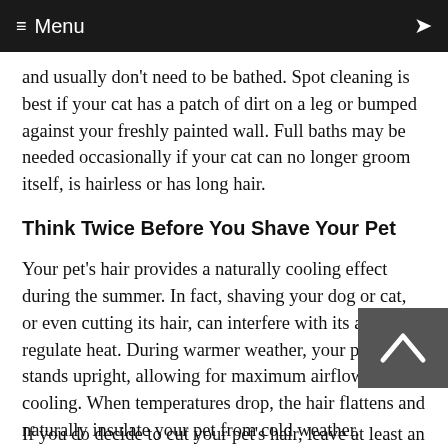≡ Menu
and usually don't need to be bathed. Spot cleaning is best if your cat has a patch of dirt on a leg or bumped against your freshly painted wall. Full baths may be needed occasionally if your cat can no longer groom itself, is hairless or has long hair.
Think Twice Before You Shave Your Pet
Your pet's hair provides a naturally cooling effect during the summer. In fact, shaving your dog or cat, or even cutting its hair, can interfere with its ability to regulate heat. During warmer weather, your pet's hair stands upright, allowing for maximum airflow and cooling. When temperatures drop, the hair flattens and naturally insulate your pet from cold weather.
If you do decide to cut your pet's hair, leave at least an